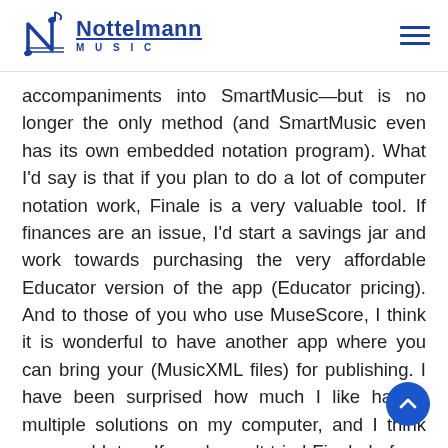Nottelmann MUSIC
accompaniments into SmartMusic—but is no longer the only method (and SmartMusic even has its own embedded notation program). What I'd say is that if you plan to do a lot of computer notation work, Finale is a very valuable tool. If finances are an issue, I'd start a savings jar and work towards purchasing the very affordable Educator version of the app (Educator pricing). And to those of you who use MuseScore, I think it is wonderful to have another app where you can bring your (MusicXML files) for publishing. I have been surprised how much I like having multiple solutions on my computer, and I think you would, too. If you haven't tried Finale before, a 30 day trial is included when you downlo…